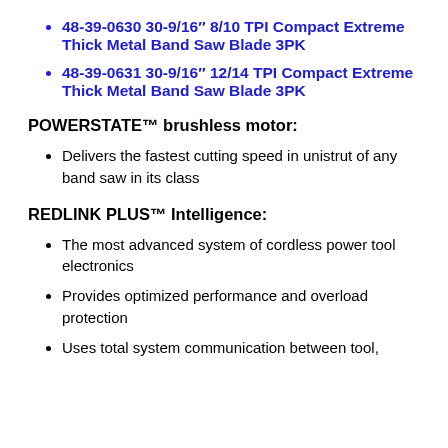48-39-0630 30-9/16″ 8/10 TPI Compact Extreme Thick Metal Band Saw Blade 3PK
48-39-0631 30-9/16″ 12/14 TPI Compact Extreme Thick Metal Band Saw Blade 3PK
POWERSTATE™ brushless motor:
Delivers the fastest cutting speed in unistrut of any band saw in its class
REDLINK PLUS™ Intelligence:
The most advanced system of cordless power tool electronics
Provides optimized performance and overload protection
Uses total system communication between tool,